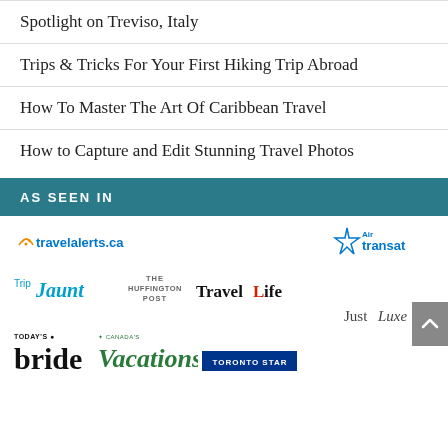Spotlight on Treviso, Italy
Trips & Tricks For Your First Hiking Trip Abroad
How To Master The Art Of Caribbean Travel
How to Capture and Edit Stunning Travel Photos
AS SEEN IN
[Figure (logo): Logos of media outlets: travelalerts.ca, Air transat, Trip Jaunt, The Huffington Post, TravelLife, JustLuxe, Today's Bride, Vacations, Toronto Star]